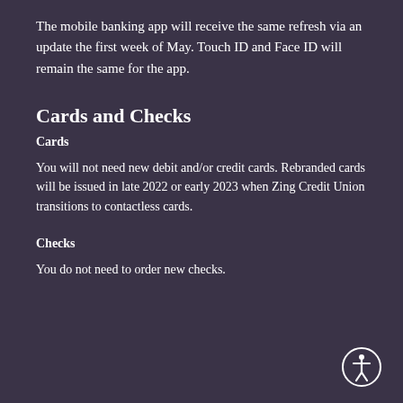The mobile banking app will receive the same refresh via an update the first week of May. Touch ID and Face ID will remain the same for the app.
Cards and Checks
Cards
You will not need new debit and/or credit cards. Rebranded cards will be issued in late 2022 or early 2023 when Zing Credit Union transitions to contactless cards.
Checks
You do not need to order new checks.